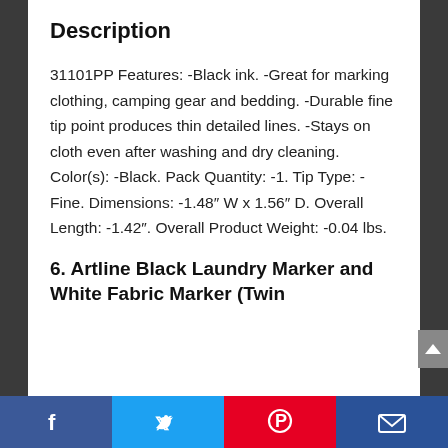Description
31101PP Features: -Black ink. -Great for marking clothing, camping gear and bedding. -Durable fine tip point produces thin detailed lines. -Stays on cloth even after washing and dry cleaning. Color(s): -Black. Pack Quantity: -1. Tip Type: -Fine. Dimensions: -1.48″ W x 1.56″ D. Overall Length: -1.42″. Overall Product Weight: -0.04 lbs.
6. Artline Black Laundry Marker and White Fabric Marker (Twin